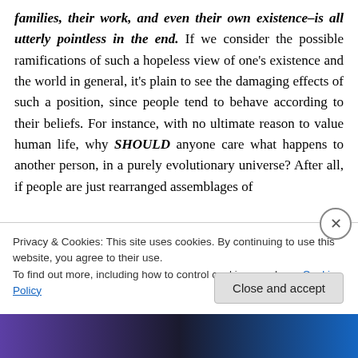families, their work, and even their own existence–is all utterly pointless in the end.  If we consider the possible ramifications of such a hopeless view of one's existence and the world in general, it's plain to see the damaging effects of such a position, since people tend to behave according to their beliefs.  For instance, with no ultimate reason to value human life, why SHOULD anyone care what happens to another person, in a purely evolutionary universe?  After all, if people are just rearranged assemblages of
Privacy & Cookies: This site uses cookies. By continuing to use this website, you agree to their use.
To find out more, including how to control cookies, see here: Cookie Policy
Close and accept